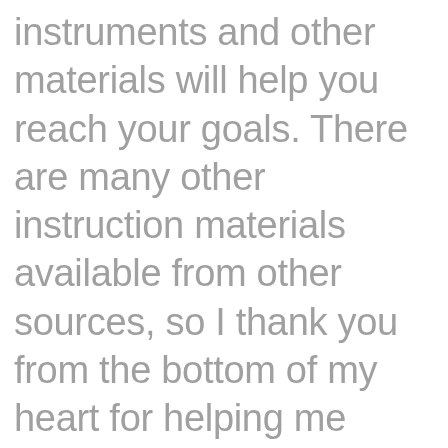instruments and other materials will help you reach your goals. There are many other instruction materials available from other sources, so I thank you from the bottom of my heart for helping me continue to do what I love, which is teach. You will find some powerful concepts